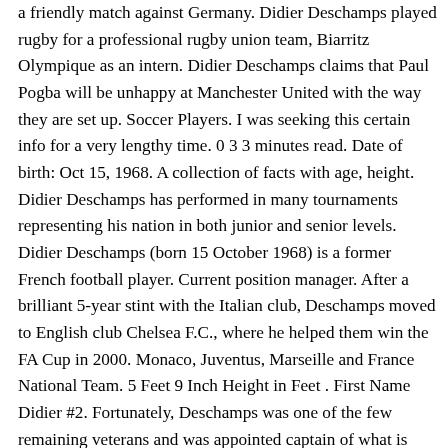a friendly match against Germany. Didier Deschamps played rugby for a professional rugby union team, Biarritz Olympique as an intern. Didier Deschamps claims that Paul Pogba will be unhappy at Manchester United with the way they are set up. Soccer Players. I was seeking this certain info for a very lengthy time. 0 3 3 minutes read. Date of birth: Oct 15, 1968. A collection of facts with age, height. Didier Deschamps has performed in many tournaments representing his nation in both junior and senior levels. Didier Deschamps (born 15 October 1968) is a former French football player. Current position manager. After a brilliant 5-year stint with the Italian club, Deschamps moved to English club Chelsea F.C., where he helped them win the FA Cup in 2000. Monaco, Juventus, Marseille and France National Team. 5 Feet 9 Inch Height in Feet . First Name Didier #2. Fortunately, Deschamps was one of the few remaining veterans and was appointed captain of what is now known as the “golden generation” of French football. Date of Birth October 15, 1968 52 years. Height: Didier Deschamps is 5’ 8½” (1m74) tall: ... Didier Deschamps, the diurnal South-western quadrant, consisting of the 7th, 8th and 9th houses, prevails in your chart: this sector brings about a thirst for communication and sometimes a need to take risks in your dealings with others. Former defensive midfielder with several top